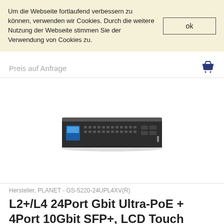Um die Webseite fortlaufend verbessern zu können, verwenden wir Cookies. Durch die weitere Nutzung der Webseite stimmen Sie der Verwendung von Cookies zu.
ok
Preis auf Anfrage
[Figure (photo): Network switch device - PLANET GS-5220-24UPL4XV(R), a 1U rack-mount managed switch with 24 Gigabit PoE ports and 4 SFP+ 10G uplink ports, shown in perspective view.]
Hersteller, PLANET - GS-5220-24UPL4XV(R)
L2+/L4 24Port Gbit Ultra-PoE + 4Port 10Gbit SFP+, LCD Touch Display, 600W PoE